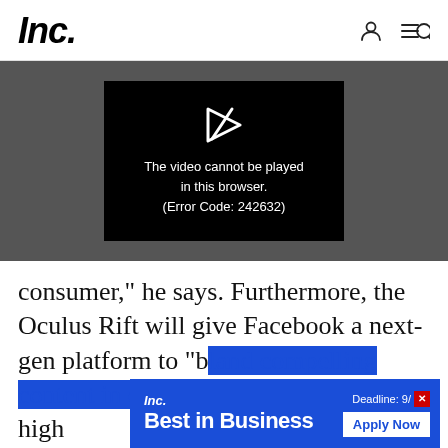Inc.
[Figure (screenshot): Video player showing error message: 'The video cannot be played in this browser. (Error Code: 242632)']
consumer," he says. Furthermore, the Oculus Rift will give Facebook a next-gen platform to "b[and compelling content in concert with high
[Figure (infographic): Inc. Best in Business advertisement banner with 'Deadline: 9/1' and 'Apply Now' button]